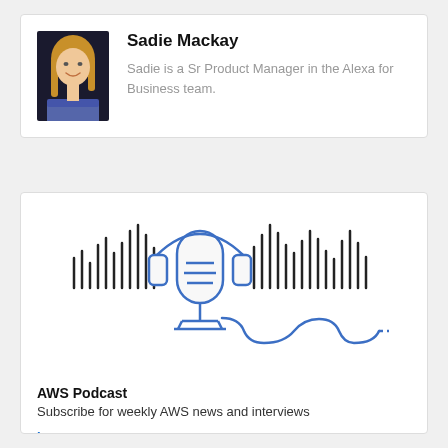[Figure (photo): Headshot of Sadie Mackay, a woman with long blonde hair, smiling, wearing a blue patterned top, dark background]
Sadie Mackay
Sadie is a Sr Product Manager in the Alexa for Business team.
[Figure (illustration): AWS Podcast illustration showing a microphone with headphones and sound wave bars in black and blue line art style]
AWS Podcast
Subscribe for weekly AWS news and interviews
Learn more »